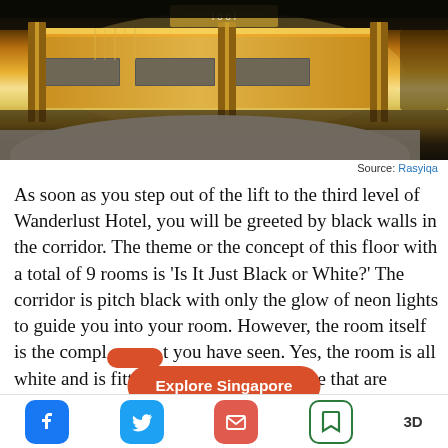[Figure (photo): Interior photo of Wanderlust Hotel lobby/reception area with warm yellow/amber backlighting behind the reception desk, dark floor, white surfaces visible in foreground.]
Source: Rasyiqa
As soon as you step out of the lift to the third level of Wanderlust Hotel, you will be greeted by black walls in the corridor. The theme or the concept of this floor with a total of 9 rooms is ‘Is It Just Black or White?’ The corridor is pitch black with only the glow of neon lights to guide you into your room. However, the room itself is the compl…t you have seen. Yes, the room is all white and is fitted with pop-art and some that are ‘folded’ walls. The pop-art rooms have creati… 3D